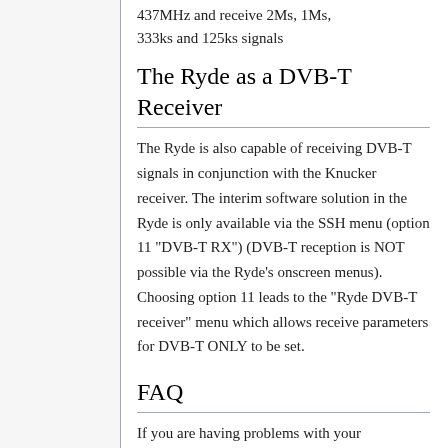437MHz and receive 2Ms, 1Ms, 333ks and 125ks signals
The Ryde as a DVB-T Receiver
The Ryde is also capable of receiving DVB-T signals in conjunction with the Knucker receiver. The interim software solution in the Ryde is only available via the SSH menu (option 11 "DVB-T RX") (DVB-T reception is NOT possible via the Ryde's onscreen menus). Choosing option 11 leads to the "Ryde DVB-T receiver" menu which allows receive parameters for DVB-T ONLY to be set.
FAQ
If you are having problems with your